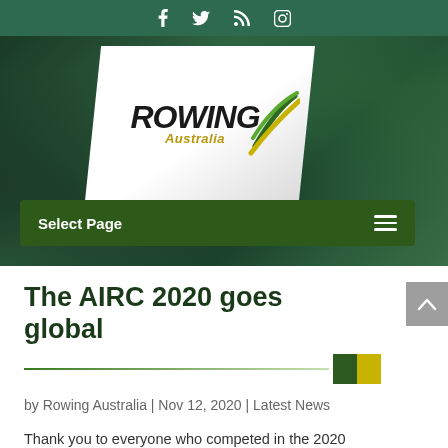[Figure (screenshot): Rowing Australia website screenshot showing social media icons bar at top (Facebook, Twitter, RSS, Instagram), hero image with Rowing Australia logo on white angled panel over green blurred background, dark green navigation bar with 'Select Page' label and hamburger menu icon]
The AIRC 2020 goes global
by Rowing Australia | Nov 12, 2020 | Latest News
Thank you to everyone who competed in the 2020